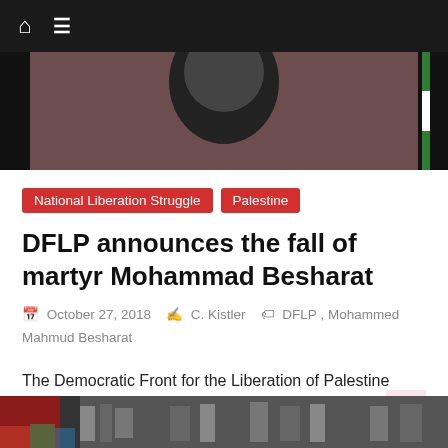Navigation bar with home icon and menu icon
[Figure (photo): Partial hero image showing a person in front of a green and white flag background]
National Liberation Struggle
Palestine
DFLP announces the fall of martyr Mohammad Besharat
October 27, 2018  C. Kistler  DFLP, Mohammed Mahmud Besharat
The Democratic Front for the Liberation of Palestine announces the fall of martyr Mohammed Mahmud Besharat, who was killed yesterday
Read more
[Figure (photo): Partial bottom image showing people in colorful clothing]